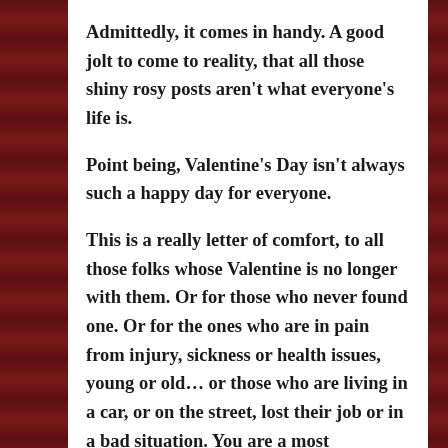Admittedly, it comes in handy. A good jolt to come to reality, that all those shiny rosy posts aren't what everyone's life is.
Point being, Valentine's Day isn't always such a happy day for everyone.
This is a really letter of comfort, to all those folks whose Valentine is no longer with them. Or for those who never found one. Or for the ones who are in pain from injury, sickness or health issues, young or old… or those who are living in a car, or on the street, lost their job or in a bad situation. You are a most wonderful awesome miraculous being. Please don't believe anyone who tells you otherwise, tries to diminish you or take away the uniqueness that